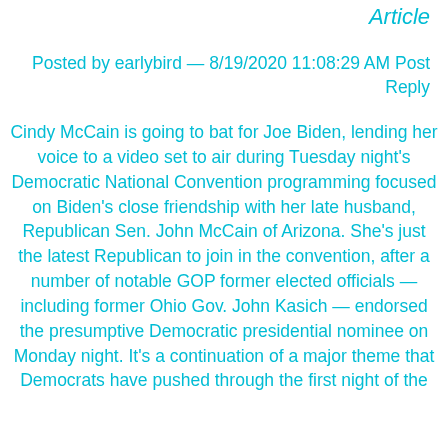Article
Posted by earlybird — 8/19/2020 11:08:29 AM Post Reply
Cindy McCain is going to bat for Joe Biden, lending her voice to a video set to air during Tuesday night's Democratic National Convention programming focused on Biden's close friendship with her late husband, Republican Sen. John McCain of Arizona. She's just the latest Republican to join in the convention, after a number of notable GOP former elected officials — including former Ohio Gov. John Kasich — endorsed the presumptive Democratic presidential nominee on Monday night. It's a continuation of a major theme that Democrats have pushed through the first night of the